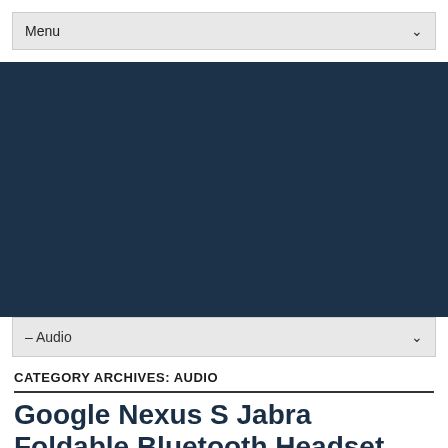Menu
[Figure (other): Dark navy blue background area representing a website header/banner region]
– Audio
CATEGORY ARCHIVES: AUDIO
Google Nexus S Jabra Foldable Bluetooth Headset
January 5, 2011 | Audio